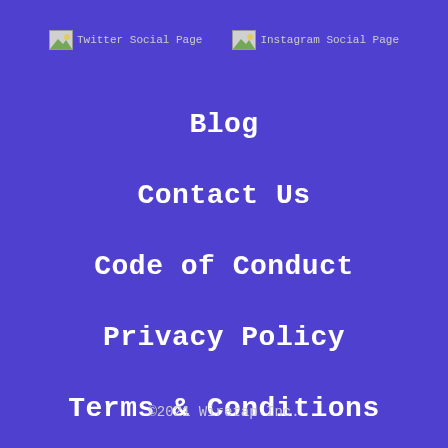[Figure (other): Twitter Social Page broken image icon with alt text]
[Figure (other): Instagram Social Page broken image icon with alt text]
Blog
Contact Us
Code of Conduct
Privacy Policy
Terms & Conditions
©2021 Wiretap Inc.